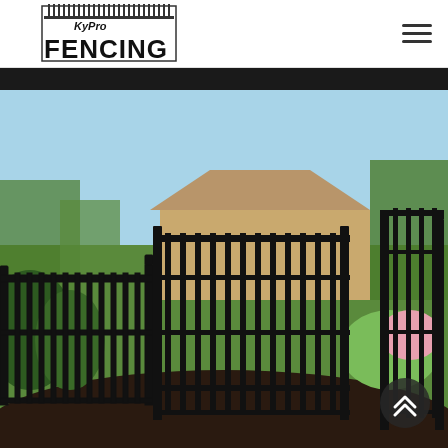[Figure (logo): KyPro Fencing logo with fence graphic above text]
[Figure (photo): Black aluminum/iron ornamental fence and gate in a backyard setting with green lawn, shrubs, flowers, and a house visible in the background under a blue sky]